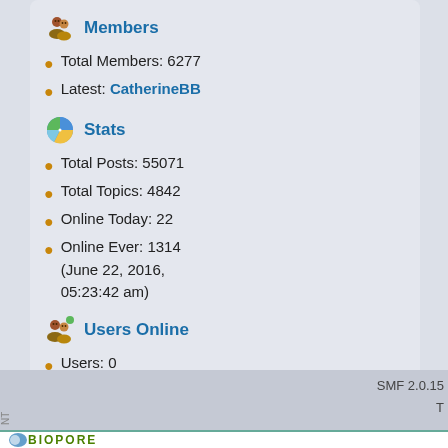Members
Total Members: 6277
Latest: CatherineBB
Stats
Total Posts: 55071
Total Topics: 4842
Online Today: 22
Online Ever: 1314 (June 22, 2016, 05:23:42 am)
Users Online
Users: 0
Guests: 22
Total: 22
SMF 2.0.15
[Figure (logo): BIOPORE logo with blue circular icon and green bold text]